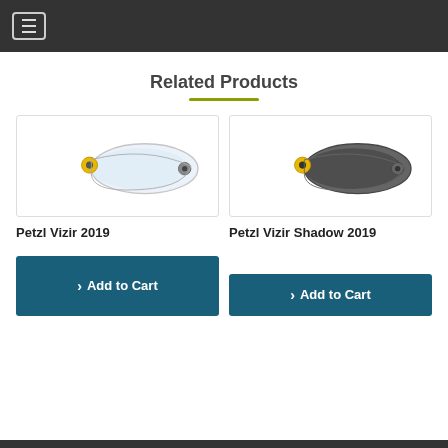Navigation menu header bar
Related Products
[Figure (photo): Petzl Vizir 2019 clear safety visor/shield with yellow and grey fittings on white background]
[Figure (photo): Petzl Vizir Shadow 2019 dark tinted safety visor/shield with yellow and grey fittings on white background]
Petzl Vizir 2019
Petzl Vizir Shadow 2019
Add to Cart
Add to Cart